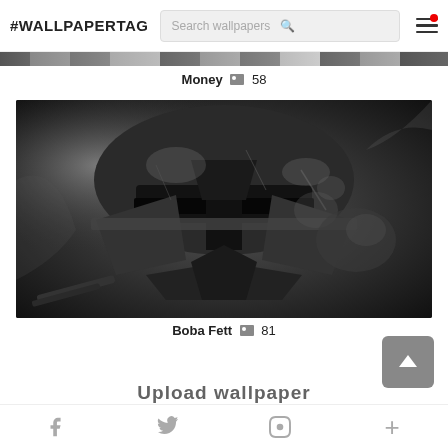#WALLPAPERTAG  Search wallpapers
[Figure (photo): Partial view of a grayscale image strip at top of page]
Money 🖼 58
[Figure (photo): Black and white photo of Boba Fett helmet with metallic armor detail, dramatic close-up]
Boba Fett 🖼 81
Upload wallpaper
f  (Twitter bird)  P  +